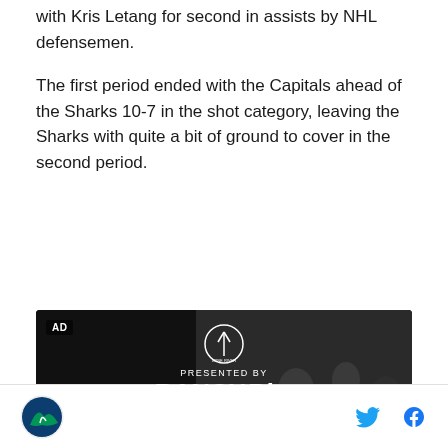with Kris Letang for second in assists by NHL defensemen.
The first period ended with the Capitals ahead of the Sharks 10-7 in the shot category, leaving the Sharks with quite a bit of ground to cover in the second period.
[Figure (photo): Advertisement banner for Ranch Rita presented by Lone River, showing people outdoors. Headline reads 'Here's the Best Places to Get Ready for the']
Footer with SB Nation Sharks logo and social media icons for Twitter and Facebook